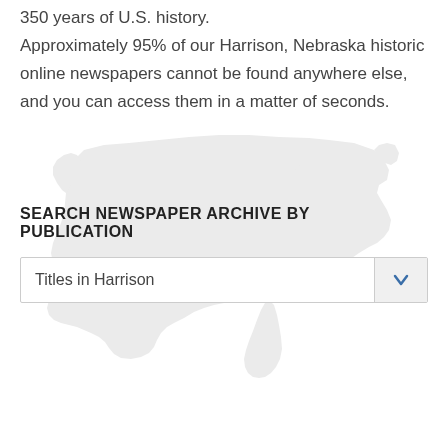350 years of U.S. history.
Approximately 95% of our Harrison, Nebraska historic online newspapers cannot be found anywhere else, and you can access them in a matter of seconds.
[Figure (map): Light gray silhouette map of the contiguous United States shown as a background watermark behind the search section.]
SEARCH NEWSPAPER ARCHIVE BY PUBLICATION
Titles in Harrison